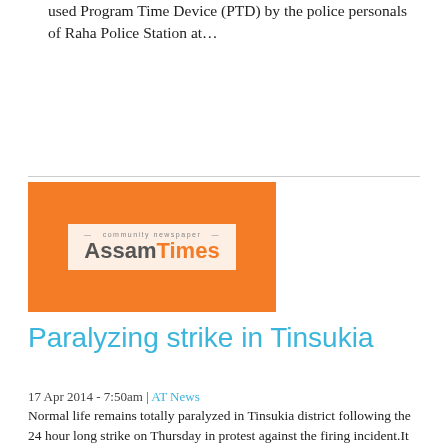used Program Time Device (PTD) by the police personals of Raha Police Station at…
[Figure (logo): AssamTimes community newspaper logo on orange background]
Paralyzing strike in Tinsukia
17 Apr 2014 - 7:50am | AT News
Normal life remains totally paralyzed in Tinsukia district following the 24 hour long strike on Thursday in protest against the firing incident.It took place inside the Guijan police outpost where a…